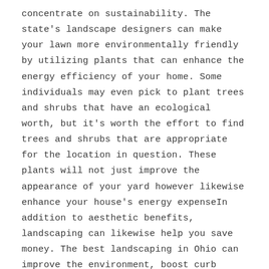concentrate on sustainability. The state's landscape designers can make your lawn more environmentally friendly by utilizing plants that can enhance the energy efficiency of your home. Some individuals may even pick to plant trees and shrubs that have an ecological worth, but it's worth the effort to find trees and shrubs that are appropriate for the location in question. These plants will not just improve the appearance of your yard however likewise enhance your house's energy expenseIn addition to aesthetic benefits, landscaping can likewise help you save money. The best landscaping in Ohio can improve the environment, boost curb appeal, and reduce your electrical expenses. In addition, trees and shrubs can help reduce the danger of flooding and other weather condition occasions. In Ohio, a tree can decrease wind speed by thirty-fold. It can also decrease the quantity of snow that falls in the winter. A well-planned landscape will not just decrease heat however will assist keep the air cleaner in the